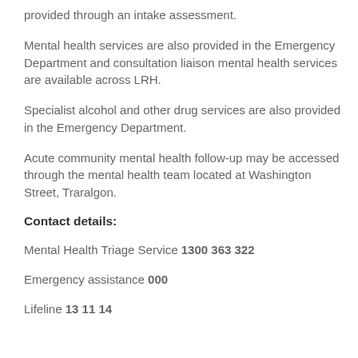provided through an intake assessment.
Mental health services are also provided in the Emergency Department and consultation liaison mental health services are available across LRH.
Specialist alcohol and other drug services are also provided in the Emergency Department.
Acute community mental health follow-up may be accessed through the mental health team located at Washington Street, Traralgon.
Contact details:
Mental Health Triage Service 1300 363 322
Emergency assistance 000
Lifeline 13 11 14